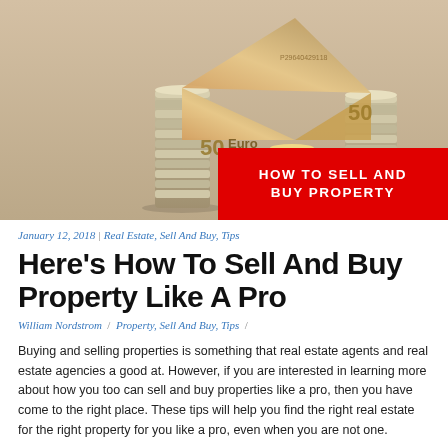[Figure (photo): Photo of stacks of coins supporting a house shape made from a folded 50 Euro banknote, on a light background. A red banner overlaid on the bottom-right reads HOW TO SELL AND BUY PROPERTY in white bold uppercase text.]
January 12, 2018 | Real Estate, Sell And Buy, Tips
Here's How To Sell And Buy Property Like A Pro
William Nordstrom / Property, Sell And Buy, Tips /
Buying and selling properties is something that real estate agents and real estate agencies a good at. However, if you are interested in learning more about how you too can sell and buy properties like a pro, then you have come to the right place. These tips will help you find the right real estate for the right property for you like a pro, even when you are not one.